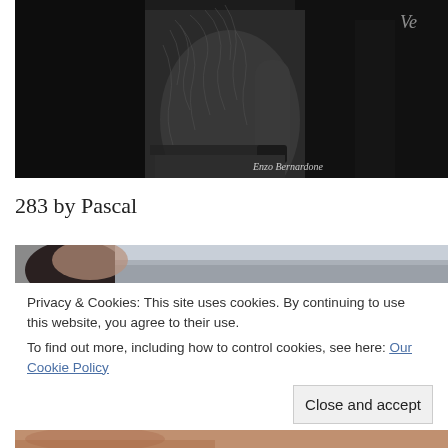[Figure (photo): Black and white photograph of a shirtless person with extensive tattoos on their back and arm, wearing dark jeans. Watermark 'Enzo Bernardone' in cursive bottom right. Partial cursive text visible top right corner.]
283 by Pascal
[Figure (photo): Partial photograph showing close-up of a person's face/head with blurred background]
Privacy & Cookies: This site uses cookies. By continuing to use this website, you agree to their use.
To find out more, including how to control cookies, see here: Our Cookie Policy
Close and accept
[Figure (photo): Partial photograph at bottom of page, warm tones]